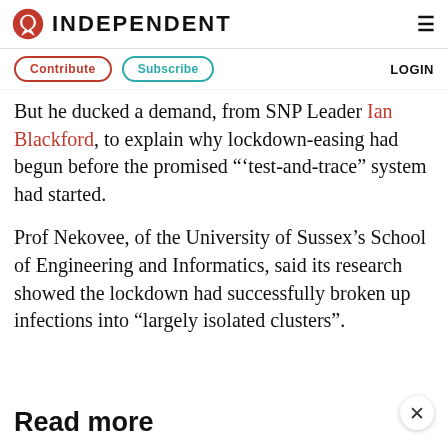INDEPENDENT
Contribute  Subscribe  LOGIN
But he ducked a demand, from SNP Leader Ian Blackford, to explain why lockdown-easing had begun before the promised “‘test-and-trace” system had started.
Prof Nekovee, of the University of Sussex’s School of Engineering and Informatics, said its research showed the lockdown had successfully broken up infections into “largely isolated clusters”.
Read more